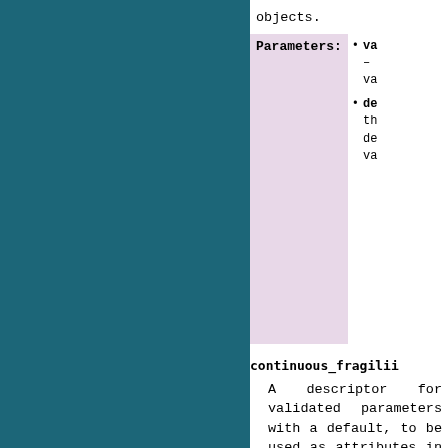objects.
Parameters: • va — va • de th de va
continuous_fragili
A descriptor for validated parameters with a default, to be used as attributes in ParamSet objects.
Parameters: • va